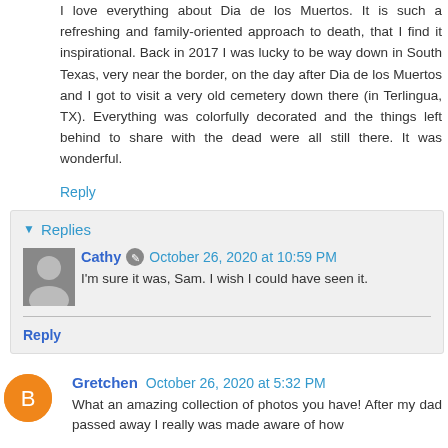I love everything about Dia de los Muertos. It is such a refreshing and family-oriented approach to death, that I find it inspirational. Back in 2017 I was lucky to be way down in South Texas, very near the border, on the day after Dia de los Muertos and I got to visit a very old cemetery down there (in Terlingua, TX). Everything was colorfully decorated and the things left behind to share with the dead were all still there. It was wonderful.
Reply
Replies
Cathy  October 26, 2020 at 10:59 PM
I'm sure it was, Sam. I wish I could have seen it.
Reply
Gretchen  October 26, 2020 at 5:32 PM
What an amazing collection of photos you have! After my dad passed away I really was made aware of how